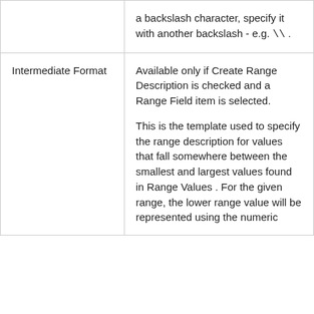|  | a backslash character, specify it with another backslash - e.g. \\ . |
| Intermediate Format | Available only if Create Range Description is checked and a Range Field item is selected.

This is the template used to specify the range description for values that fall somewhere between the smallest and largest values found in Range Values . For the given range, the lower range value will be represented using the numeric |